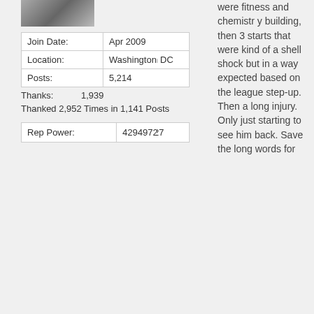[Figure (photo): User avatar photo - small thumbnail of a person]
| Join Date: | Apr 2009 |
| Location: | Washington DC |
| Posts: | 5,214 |
Thanks: 1,939
Thanked 2,952 Times in 1,141 Posts
| Rep Power: | 42949727 |
were fitness and chemistry building, then 3 starts that were kind of a shell shock but in a way expected based on the league step-up. Then a long injury. Only just starting to see him back. Save the long words for